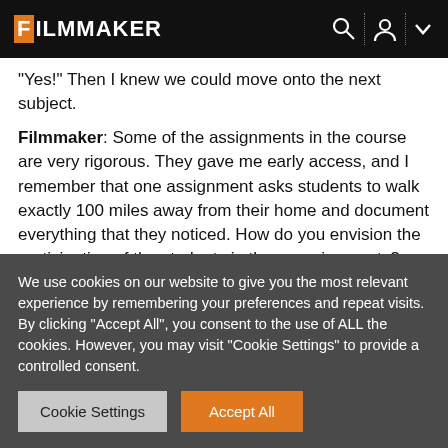FILMMAKER
“Yes!” Then I knew we could move onto the next subject.
Filmmaker: Some of the assignments in the course are very rigorous. They gave me early access, and I remember that one assignment asks students to walk exactly 100 miles away from their home and document everything that they noticed. How do you envision the participation of the students in these assignments?
We use cookies on our website to give you the most relevant experience by remembering your preferences and repeat visits. By clicking “Accept All”, you consent to the use of ALL the cookies. However, you may visit “Cookie Settings” to provide a controlled consent.